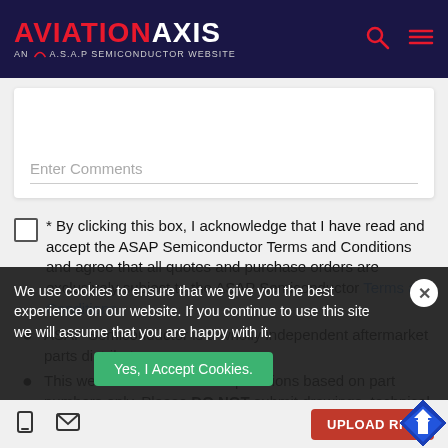AVIATION AXIS AN A.S.A.P SEMICONDUCTOR WEBSITE
Enter Comments
* By clicking this box, I acknowledge that I have read and accept the ASAP Semiconductor Terms and Conditions and agree that all quotes and purchase orders are exclusively subject to the ASAP Semiconductor Terms and Conditions.
ASAP Semiconductor is a wholly independent aftermarket parts distributor.
This website is intended for quotations based on part numbers only. Please DO NOT submit drawings, technical data, or other specifications through this portal.
We use cookies to ensure that we give you the best experience on our website. If you continue to use this site we will assume that you are happy with it.
Yes, I Accept Cookies.
UPLOAD RFQ